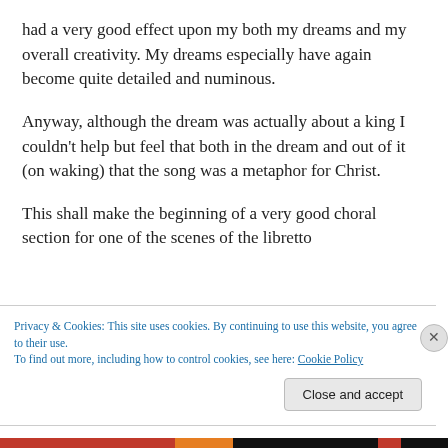had a very good effect upon my both my dreams and my overall creativity. My dreams especially have again become quite detailed and numinous.
Anyway, although the dream was actually about a king I couldn't help but feel that both in the dream and out of it (on waking) that the song was a metaphor for Christ.
This shall make the beginning of a very good choral section for one of the scenes of the libretto I am writing for an opera.
Privacy & Cookies: This site uses cookies. By continuing to use this website, you agree to their use.
To find out more, including how to control cookies, see here: Cookie Policy